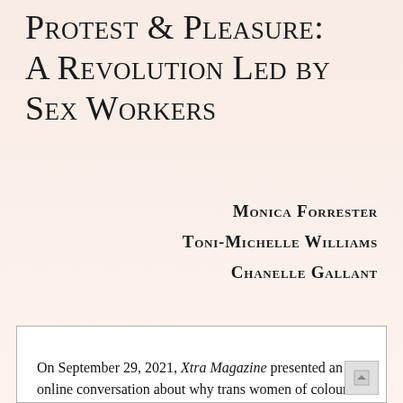Protest & Pleasure: A Revolution Led by Sex Workers
Monica Forrester
Toni-Michelle Williams
Chanelle Gallant
On September 29, 2021, Xtra Magazine presented an online conversation about why trans women of colour sex workers are the leaders we need to light the way to sexual liberation and other revolutionary horizons. Xtra